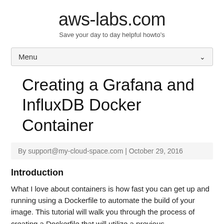aws-labs.com
Save your day to day helpful howto's
Creating a Grafana and InfluxDB Docker Container
By support@my-cloud-space.com | October 29, 2016
Introduction
What I love about containers is how fast you can get up and running using a Dockerfile to automate the build of your image. This tutorial will walk you through the process of creating a Dockerfile that will utilize a previous...